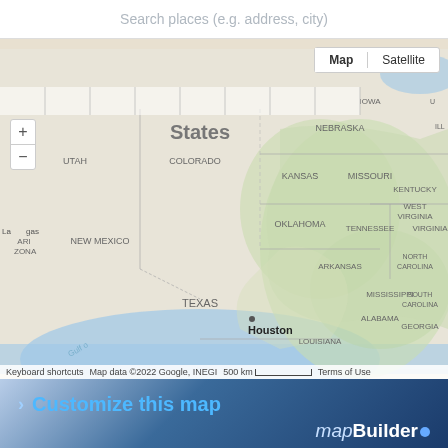Search places (e.g. address, city)
[Figure (map): Google Maps view of south-central United States showing states including Nebraska, Iowa, Kansas, Missouri, Colorado, Oklahoma, Arkansas, Tennessee, Texas, Louisiana, Mississippi, Alabama, Georgia, Virginia, North Carolina, South Carolina, Kentucky, West Virginia, Utah, Arizona, New Mexico. Houston is marked. Map/Satellite toggle visible. Zoom controls (+/-) visible. Map data ©2022 Google, INEGI. Scale bar showing 500 km.]
Customize this map
mapBuilder
randymajors.org Map Tools ©2022 randymajors.org
Township 101 North, Range 28 West, 5th